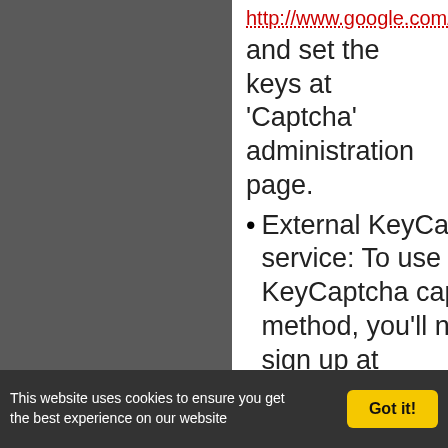and set the keys at 'Captcha' administration page.
External KeyCaptcha service: To use KeyCaptcha captcha method, you'll need to sign up at http://www.keycaptcha.com/ and set the user id and key at 'Captcha' administration page.
This website uses cookies to ensure you get the best experience on our website